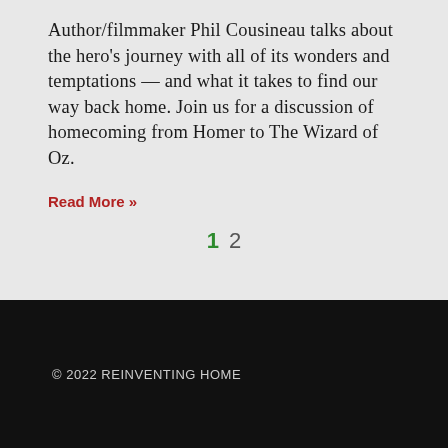Author/filmmaker Phil Cousineau talks about the hero's journey with all of its wonders and temptations — and what it takes to find our way back home. Join us for a discussion of homecoming from Homer to The Wizard of Oz.
Read More »
1  2
© 2022 REINVENTING HOME